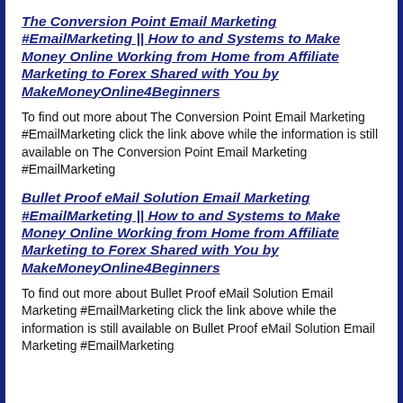The Conversion Point Email Marketing #EmailMarketing || How to and Systems to Make Money Online Working from Home from Affiliate Marketing to Forex Shared with You by MakeMoneyOnline4Beginners
To find out more about The Conversion Point Email Marketing #EmailMarketing click the link above while the information is still available on The Conversion Point Email Marketing #EmailMarketing
Bullet Proof eMail Solution Email Marketing #EmailMarketing || How to and Systems to Make Money Online Working from Home from Affiliate Marketing to Forex Shared with You by MakeMoneyOnline4Beginners
To find out more about Bullet Proof eMail Solution Email Marketing #EmailMarketing click the link above while the information is still available on Bullet Proof eMail Solution Email Marketing #EmailMarketing